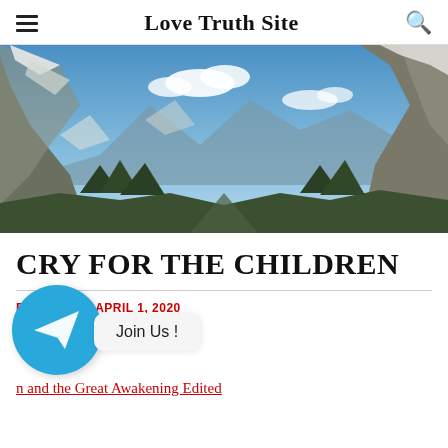Love Truth Site
[Figure (photo): Panoramic mountain landscape with snow-covered peaks, rocky cliffs, conifer trees, and blue sky with white clouds]
CRY FOR THE CHILDREN
BY ... S YOU / APRIL 1, 2020
[Figure (logo): Telegram app logo — white paper plane on blue circle background, with 'Join Us!' popup bubble]
n and the Great Awakening Edited